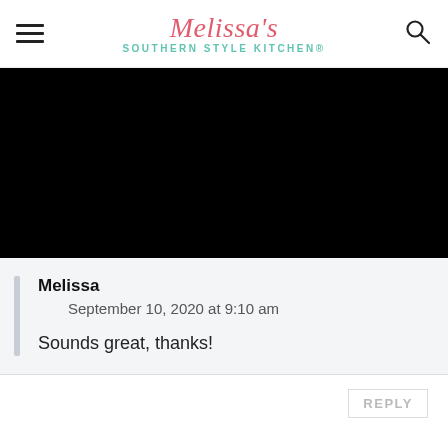Melissa's Southern Style Kitchen®
[Figure (photo): Black rectangular image block]
Melissa
September 10, 2020 at 9:10 am
Sounds great, thanks!
REPLY